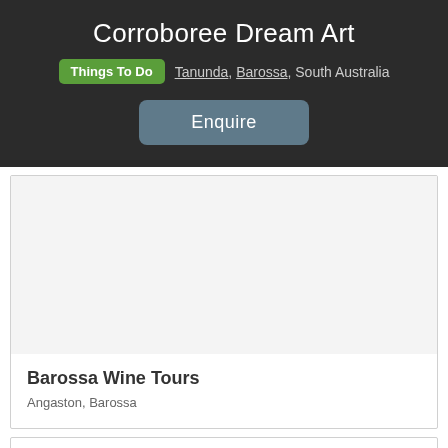Corroboree Dream Art
Things To Do  Tanunda, Barossa, South Australia
Enquire
[Figure (photo): Empty white image area placeholder for Barossa Wine Tours listing]
Barossa Wine Tours
Angaston, Barossa
Partial card below